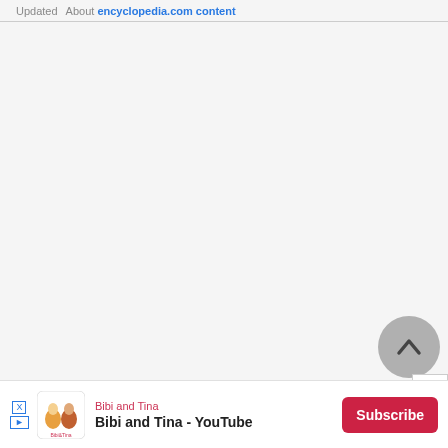Updated  About encyclopedia.com content
[Figure (other): Blank main content area of an encyclopedia.com webpage, light gray background]
[Figure (other): Circular scroll-to-top button with upward chevron arrow, gray background]
[Figure (other): Close (X) button, white square with gray X]
[Figure (other): Advertisement banner for Bibi and Tina YouTube channel with Subscribe button]